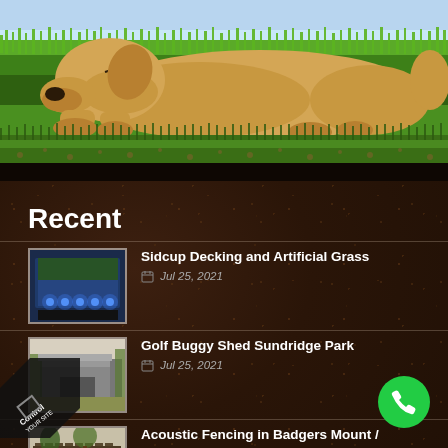[Figure (photo): Hero image: yellow Labrador dog lying on lush green grass with soil cross-section below]
Recent
[Figure (photo): Thumbnail of decking and artificial grass installation with blue lighting]
Sidcup Decking and Artificial Grass
Jul 25, 2021
[Figure (photo): Thumbnail of a grey golf buggy shed]
Golf Buggy Shed Sundridge Park
Jul 25, 2021
[Figure (photo): Thumbnail of acoustic fencing installation in a garden]
Acoustic Fencing in Badgers Mount /
Jul 25, 2021
[Figure (logo): Control Your Site logo in bottom left corner]
[Figure (infographic): Green phone/call button in bottom right corner]